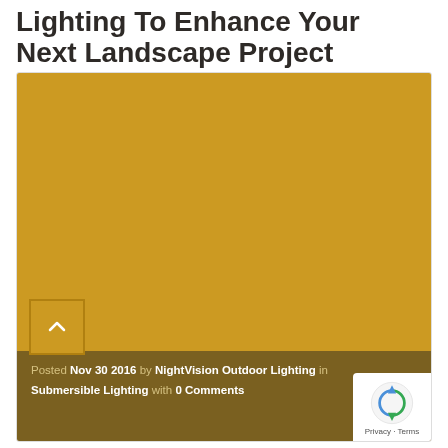Lighting To Enhance Your Next Landscape Project
[Figure (photo): Large golden-yellow colored rectangular image placeholder (landscape lighting article featured image)]
Posted Nov 30 2016 by NightVision Outdoor Lighting in Submersible Lighting with 0 Comments